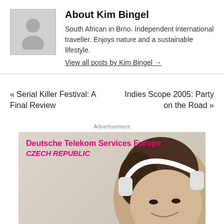About Kim Bingel
South African in Brno. Independent international traveller. Enjoys nature and a sustainable lifestyle.
View all posts by Kim Bingel →
« Serial Killer Festival: A Final Review
Indies Scope 2005: Party on the Road »
Advertisement
[Figure (photo): Advertisement banner for Deutsche Telekom Services Europe Czech Republic, showing a smiling person with headphones and curly hair on a beige/tan background. Text reads 'Deutsche Telekom Services Europe' in bold pink and 'CZECH REPUBLIC' in pink italic bold.]